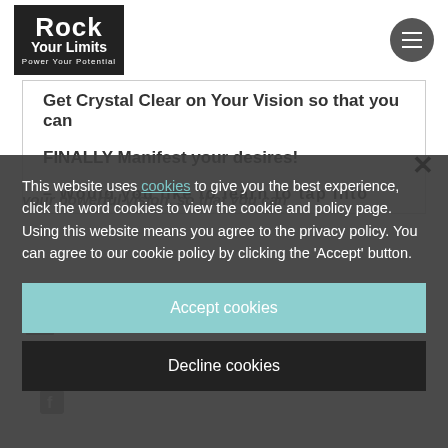Rock Your Limits — Power Your Potential
Get Crystal Clear on Your Vision so that you can
FINALLY Manifest your desires!
– Would you like to learn to tap into
your powerful vision, so that you can
This website uses cookies to give you the best experience, click the word cookies to view the cookie and policy page. Using this website means you agree to the privacy policy. You can agree to our cookie policy by clicking the 'Accept' button.
Accept cookies
Decline cookies